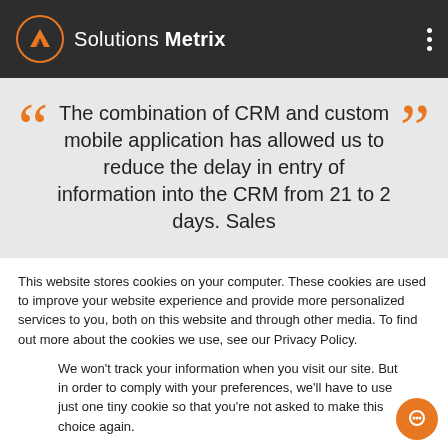Solutions Metrix
The combination of CRM and custom mobile application has allowed us to reduce the delay in entry of information into the CRM from 21 to 2 days. Sales
This website stores cookies on your computer. These cookies are used to improve your website experience and provide more personalized services to you, both on this website and through other media. To find out more about the cookies we use, see our Privacy Policy.
We won't track your information when you visit our site. But in order to comply with your preferences, we'll have to use just one tiny cookie so that you're not asked to make this choice again.
Accept
Decline